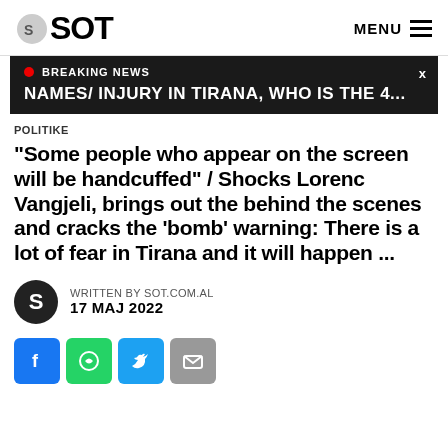SOT  MENU
BREAKING NEWS  NAMES/ INJURY IN TIRANA, WHO IS THE 4...
POLITIKE
"Some people who appear on the screen will be handcuffed" / Shocks Lorenc Vangjeli, brings out the behind the scenes and cracks the 'bomb' warning: There is a lot of fear in Tirana and it will happen ...
WRITTEN BY SOT.COM.AL
17 MAJ 2022
[Figure (other): Social media share buttons: Facebook, WhatsApp, Twitter, Email]